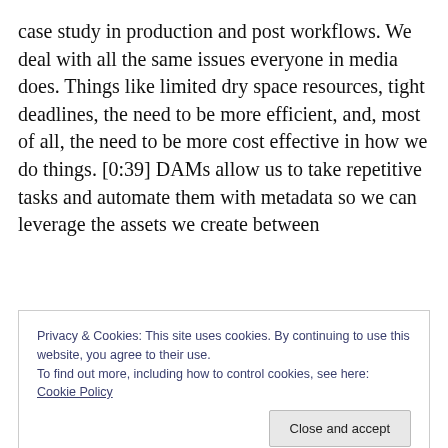case study in production and post workflows. We deal with all the same issues everyone in media does. Things like limited dry space resources, tight deadlines, the need to be more efficient, and, most of all, the need to be more cost effective in how we do things. [0:39] DAMs allow us to take repetitive tasks and automate them with metadata so we can leverage the assets we create between
Privacy & Cookies: This site uses cookies. By continuing to use this website, you agree to their use. To find out more, including how to control cookies, see here: Cookie Policy
[0:55] Oftentimes, we find ourselves doing slight changes